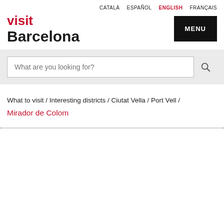CATALÀ  ESPAÑOL  ENGLISH  FRANÇAIS
visit Barcelona
What are you looking for?
What to visit / Interesting districts / Ciutat Vella / Port Vell / Mirador de Colom